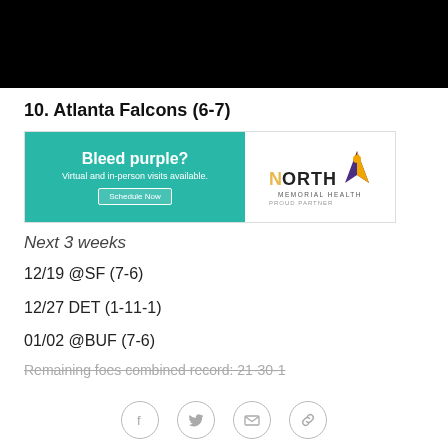[Figure (photo): Black banner image at top of page]
10. Atlanta Falcons (6-7)
[Figure (infographic): North Memorial Health advertisement banner with teal left side reading 'Bleed purple? Virtual and in-person visits available. Schedule Now' and white right side with North Memorial Health logo and Minnesota Vikings logo]
Next 3 weeks
12/19 @SF (7-6)
12/27 DET (1-11-1)
01/02 @BUF (7-6)
Remaining foes combined record: 21-30-1
Social share icons: Facebook, Twitter, Email, Link